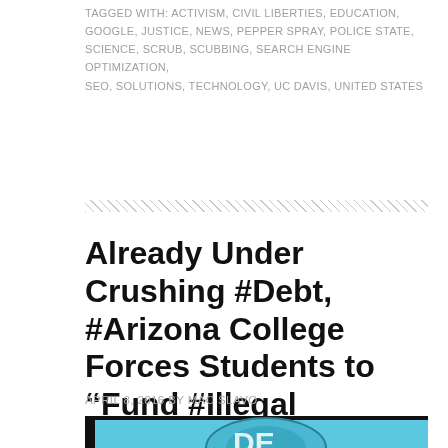TAGGED WITH: ACTIVISM, CIVIL LIBERTIES, EDUCATION, GOOGLE, JUSTICE, NEWS, PEPPER SPRAY, POLICE STATE, SCIENCE, SCRUB, SCUBBING, SEARCH ENGINE OPTIMIZATION, SEO, SOLUTIONS, TECHNOLOGY, UC DAVIS, UNITED STATES
Already Under Crushing #Debt, #Arizona College Forces Students to “Fund #Illegal Immigrants”
APRIL 8, 2016 BY MAC SLAVO
[Figure (illustration): Illustration showing a cartoon backpack with the letters 'DE' visible on it, partially cut off, against a light blue background framed in a dark border]